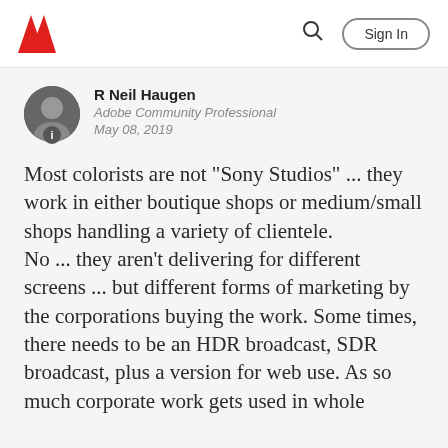Adobe | Sign In
R Neil Haugen
Adobe Community Professional
May 08, 2019
Most colorists are not "Sony Studios" ... they work in either boutique shops or medium/small shops handling a variety of clientele.
No ... they aren't delivering for different screens ... but different forms of marketing by the corporations buying the work. Some times, there needs to be an HDR broadcast, SDR broadcast, plus a version for web use. As so much corporate work gets used in whole